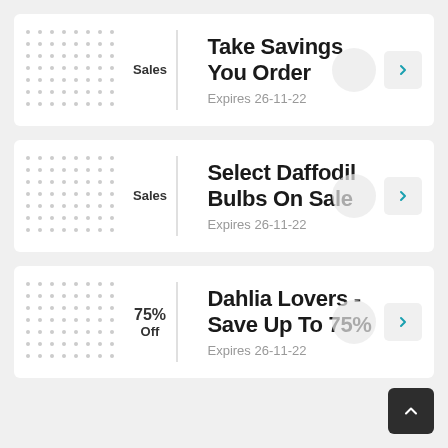Sales | Take Savings You Order | Expires 26-11-22
Sales | Select Daffodil Bulbs On Sale | Expires 26-11-22
75% Off | Dahlia Lovers - Save Up To 75% | Expires 26-11-22